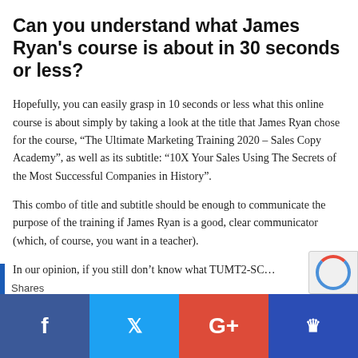Can you understand what James Ryan's course is about in 30 seconds or less?
Hopefully, you can easily grasp in 10 seconds or less what this online course is about simply by taking a look at the title that James Ryan chose for the course, “The Ultimate Marketing Training 2020 – Sales Copy Academy”, as well as its subtitle: “10X Your Sales Using The Secrets of the Most Successful Companies in History”.
This combo of title and subtitle should be enough to communicate the purpose of the training if James Ryan is a good, clear communicator (which, of course, you want in a teacher).
In our opinion, if you still don’t know what TUMT2-SC…
Shares  [Facebook] [Twitter] [G+] [Crown]